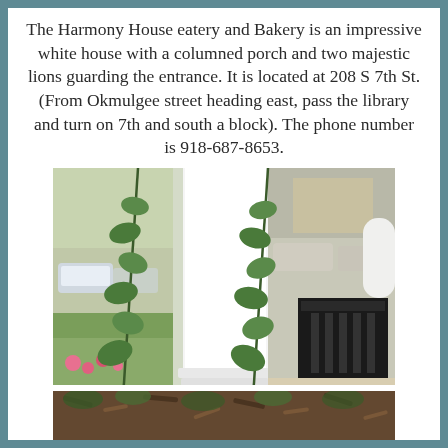The Harmony House eatery and Bakery is an impressive white house with a columned porch and two majestic lions guarding the entrance. It is located at 208 S 7th St. (From Okmulgee street heading east, pass the library and turn on 7th and south a block). The phone number is 918-687-8653.
[Figure (photo): Photo of a white columned porch with green leafy plants/vines in the foreground, a dark wooden bench/chair visible on the right, and a parking lot with vehicles visible in the background.]
[Figure (photo): Partial photo showing ground-level view with mulch and low plants or garden area.]